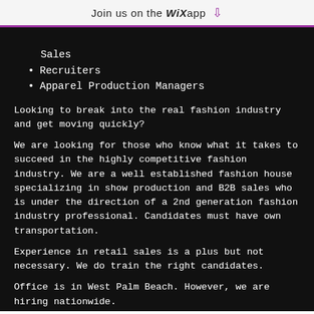Join us on the WiX app ⬇
Sales
Recruiters
Apparel Production Managers
Looking to break into the real fashion industry and get moving quickly?
We are looking for those who know what it takes to succeed in the highly competitive fashion industry. We are a well established fashion house specializing in show production and B2B sales who is under the direction of a 2nd generation fashion industry professional. Candidates must have own transportation.
Experience in retail sales is a plus but not necessary. We do train the right candidates.
Office is in West Palm Beach. However, we are hiring nationwide.
We are looking for Individuals who are:
*Upbeat, Friendly, Customer Service Oriented, Team Players
*Driven to succeed and outgoing, like to